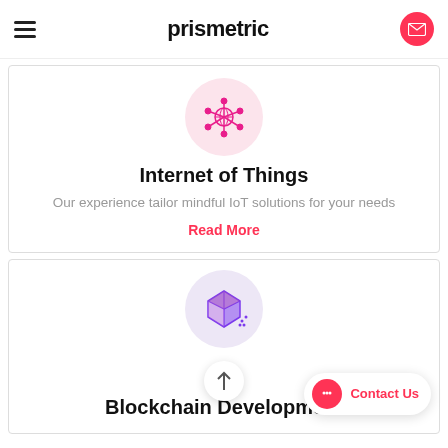prismetric
[Figure (illustration): IoT network icon with nodes and globe in pink circle]
Internet of Things
Our experience tailor mindful IoT solutions for your needs
Read More
[Figure (illustration): Blockchain 3D cube icon in purple/lavender circle]
Blockchain Development